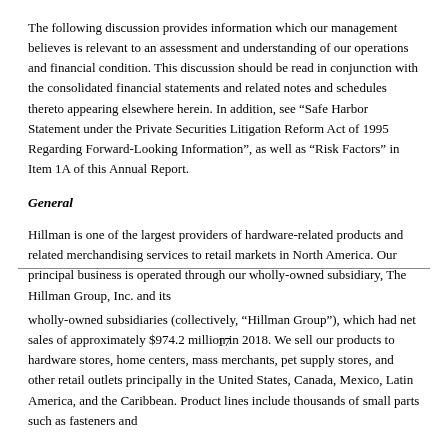The following discussion provides information which our management believes is relevant to an assessment and understanding of our operations and financial condition. This discussion should be read in conjunction with the consolidated financial statements and related notes and schedules thereto appearing elsewhere herein. In addition, see “Safe Harbor Statement under the Private Securities Litigation Reform Act of 1995 Regarding Forward-Looking Information”, as well as “Risk Factors” in Item 1A of this Annual Report.
General
Hillman is one of the largest providers of hardware-related products and related merchandising services to retail markets in North America. Our principal business is operated through our wholly-owned subsidiary, The Hillman Group, Inc. and its
17
wholly-owned subsidiaries (collectively, “Hillman Group”), which had net sales of approximately $974.2 million in 2018. We sell our products to hardware stores, home centers, mass merchants, pet supply stores, and other retail outlets principally in the United States, Canada, Mexico, Latin America, and the Caribbean. Product lines include thousands of small parts such as fasteners and